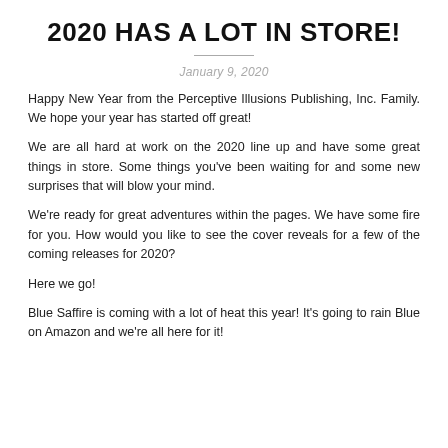2020 HAS A LOT IN STORE!
January 9, 2020
Happy New Year from the Perceptive Illusions Publishing, Inc. Family. We hope your year has started off great!
We are all hard at work on the 2020 line up and have some great things in store. Some things you've been waiting for and some new surprises that will blow your mind.
We're ready for great adventures within the pages. We have some fire for you. How would you like to see the cover reveals for a few of the coming releases for 2020?
Here we go!
Blue Saffire is coming with a lot of heat this year! It's going to rain Blue on Amazon and we're all here for it!